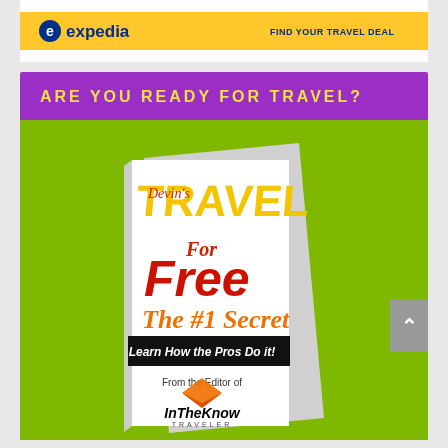[Figure (logo): Expedia logo on yellow background banner]
ARE YOU READY FOR TRAVEL?
[Figure (illustration): Book cover: Devin's TRAVEL For Free The #1 Secret - Learn How the Pros Do it! From the Editor of InTheKnow Traveler. By Devin Galaudet. Book shown on green background.]